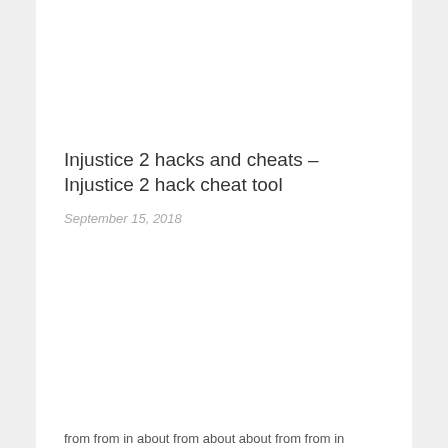Injustice 2 hacks and cheats – Injustice 2 hack cheat tool
September 15, 2018
from from in about from about about from from in